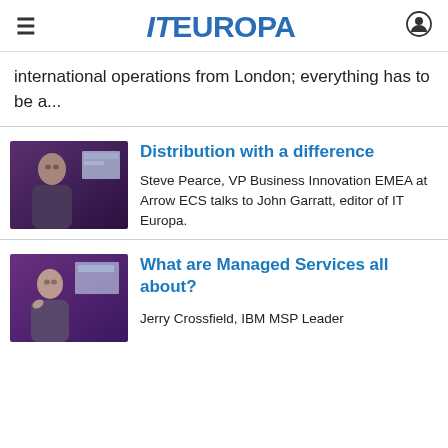IT EUROPA
international operations from London; everything has to be a...
[Figure (photo): Person being interviewed at an event, purple/dark background with presentation screen]
Distribution with a difference
Steve Pearce, VP Business Innovation EMEA at Arrow ECS talks to John Garratt, editor of IT Europa.
[Figure (photo): Person being interviewed at an event, purple background]
What are Managed Services all about?
Jerry Crossfield, IBM MSP Leader